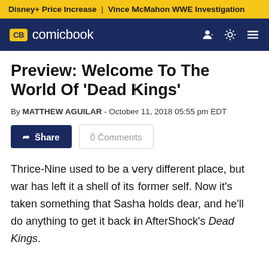Disney+ Price Increase | Vince McMahon WWE Investigation
[Figure (logo): ComicBook.com navigation bar with CB logo in yellow badge and white text 'comicbook', user icon, sun/brightness icon, and hamburger menu icon on dark blue background]
Preview: Welcome To The World Of 'Dead Kings'
By MATTHEW AGUILAR - October 11, 2018 05:55 pm EDT
Share | 0 Comments
Thrice-Nine used to be a very different place, but war has left it a shell of its former self. Now it's taken something that Sasha holds dear, and he'll do anything to get it back in AfterShock's Dead Kings.